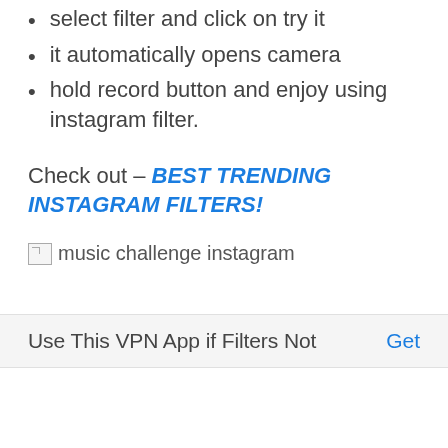select filter and click on try it
it automatically opens camera
hold record button and enjoy using instagram filter.
Check out – BEST TRENDING INSTAGRAM FILTERS!
[Figure (illustration): Broken image placeholder with alt text 'music challenge instagram']
Use This VPN App if Filters Not    Get